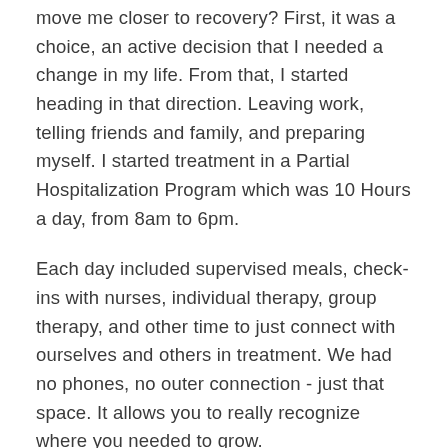move me closer to recovery? First, it was a choice, an active decision that I needed a change in my life. From that, I started heading in that direction. Leaving work, telling friends and family, and preparing myself. I started treatment in a Partial Hospitalization Program which was 10 Hours a day, from 8am to 6pm.
Each day included supervised meals, check-ins with nurses, individual therapy, group therapy, and other time to just connect with ourselves and others in treatment. We had no phones, no outer connection - just that space. It allows you to really recognize where you needed to grow.